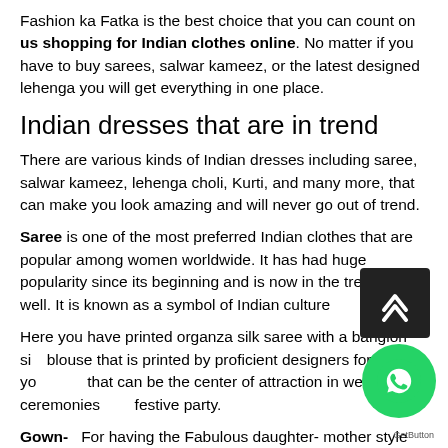Fashion ka Fatka is the best choice that you can count on us shopping for Indian clothes online. No matter if you have to buy sarees, salwar kameez, or the latest designed lehenga you will get everything in one place.
Indian dresses that are in trend
There are various kinds of Indian dresses including saree, salwar kameez, lehenga choli, Kurti, and many more, that can make you look amazing and will never go out of trend.
Saree is one of the most preferred Indian clothes that are popular among women worldwide. It has had huge popularity since its beginning and is now in the trend as well. It is known as a symbol of Indian culture
Here you have printed organza silk saree with a banglori silk blouse that is printed by proficient designers for getting you look that can be the center of attraction in wedding ceremonies and festive party.
Gown-  For having the Fabulous daughter- mother style floor length gown with a georgette top and with a georgette dupatta for all kinds of festive wedding parties, you have the best destination Fashion ka Fatka for fulfilling all your needs.